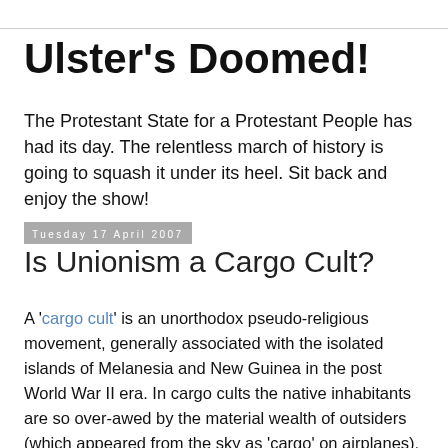Ulster's Doomed!
The Protestant State for a Protestant People has had its day. The relentless march of history is going to squash it under its heel. Sit back and enjoy the show!
Tuesday 17 April 2007
Is Unionism a Cargo Cult?
A 'cargo cult' is an unorthodox pseudo-religious movement, generally associated with the isolated islands of Melanesia and New Guinea in the post World War II era. In cargo cults the native inhabitants are so over-awed by the material wealth of outsiders (which appeared from the sky as 'cargo' on airplanes), for which they can see no obvious explanation bar the supernatural. The native inhabitants believe that this wealth is associated with the (to them) weird rituals, such as sitting in a control tower, or speaking into a box (i.e. a radio), and so on. In order to try to get hold of a share of this